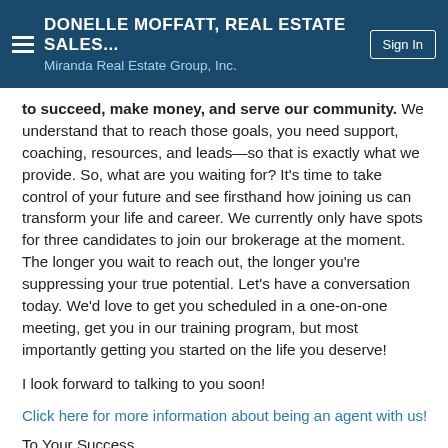DONELLE MOFFATT, REAL ESTATE SALES... Miranda Real Estate Group, Inc.
to succeed, make money, and serve our community. We understand that to reach those goals, you need support, coaching, resources, and leads—so that is exactly what we provide. So, what are you waiting for? It's time to take control of your future and see firsthand how joining us can transform your life and career. We currently only have spots for three candidates to join our brokerage at the moment. The longer you wait to reach out, the longer you're suppressing your true potential. Let's have a conversation today. We'd love to get you scheduled in a one-on-one meeting, get you in our training program, but most importantly getting you started on the life you deserve!
I look forward to talking to you soon!
Click here for more information about being an agent with us!
To Your Success,
Willie Miranda,